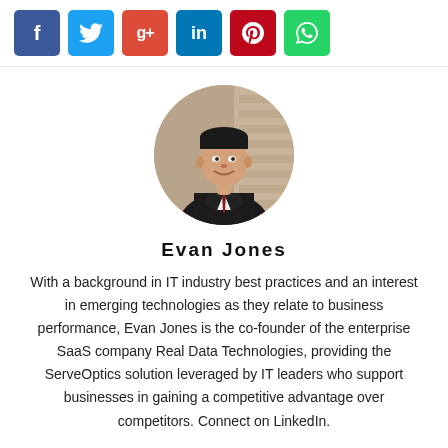[Figure (other): Social share buttons: Facebook (blue), Twitter (light blue), Google+ (red), LinkedIn (dark blue), Pinterest (dark red), WhatsApp (green)]
[Figure (photo): Circular profile photo of Evan Jones, a man in a dark suit and tie, smiling, standing against a stone/brick wall background]
Evan Jones
With a background in IT industry best practices and an interest in emerging technologies as they relate to business performance, Evan Jones is the co-founder of the enterprise SaaS company Real Data Technologies, providing the ServeOptics solution leveraged by IT leaders who support businesses in gaining a competitive advantage over competitors. Connect on LinkedIn.